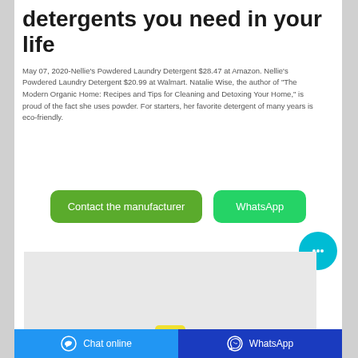detergents you need in your life
May 07, 2020-Nellie's Powdered Laundry Detergent $28.47 at Amazon. Nellie's Powdered Laundry Detergent $20.99 at Walmart. Natalie Wise, the author of "The Modern Organic Home: Recipes and Tips for Cleaning and Detoxing Your Home," is proud of the fact she uses powder. For starters, her favorite detergent of many years is eco-friendly.
[Figure (other): Two buttons: 'Contact the manufacturer' (green) and 'WhatsApp' (green)]
[Figure (photo): Product image showing a yellow cap/container lid against a light grey background]
Chat online   WhatsApp